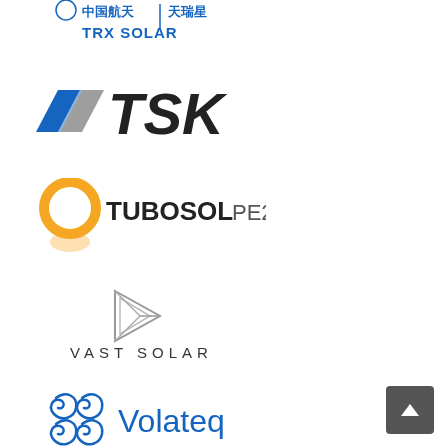[Figure (logo): TRX Solar logo with Chinese characters 中国航天 and text TRX SOLAR in blue]
[Figure (logo): TSK logo with blue/grey parallelogram icon and bold black italic TSK text]
[Figure (logo): TUBOSOL PE2 logo with orange circle/ring icon and bold TUBOSOL text and PE2]
[Figure (logo): VAST SOLAR logo with geometric arrow/diamond outline icon and spaced letter text VAST SOLAR]
[Figure (logo): Volateq logo with blue spiral/swirl grid icon and blue Volateq text]